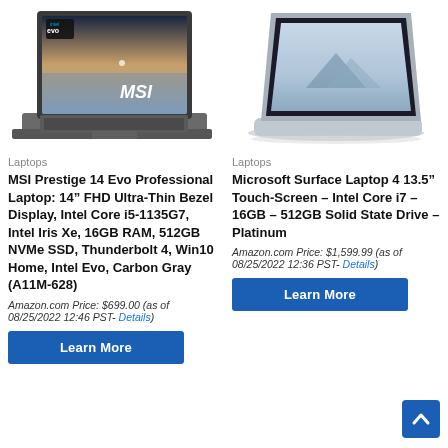[Figure (photo): MSI Prestige 14 Evo laptop open, showing screen with MSI logo and Evo Intel badge, dark gray color, viewed from front-left angle]
[Figure (photo): Microsoft Surface Laptop 4 open, silver/platinum color, thin profile, viewed from front-right angle]
Laptops
MSI Prestige 14 Evo Professional Laptop: 14" FHD Ultra-Thin Bezel Display, Intel Core i5-1135G7, Intel Iris Xe, 16GB RAM, 512GB NVMe SSD, Thunderbolt 4, Win10 Home, Intel Evo, Carbon Gray (A11M-628)
Laptops
Microsoft Surface Laptop 4 13.5" Touch-Screen – Intel Core i7 – 16GB – 512GB Solid State Drive – Platinum
Amazon.com Price: $699.00 (as of 08/25/2022 12:46 PST- Details)
Amazon.com Price: $1,599.99 (as of 08/25/2022 12:36 PST- Details)